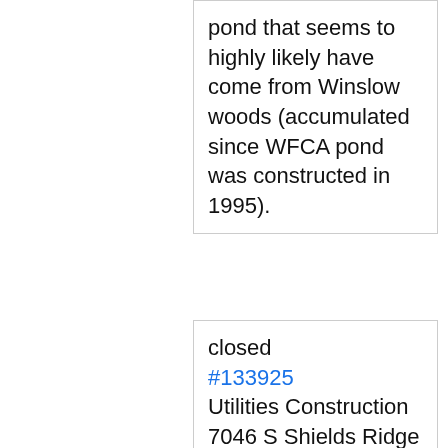pond that seems to highly likely have come from Winslow woods (accumulated since WFCA pond was constructed in 1995).
closed #133925 Utilities Construction 7046 S Shields Ridge RD